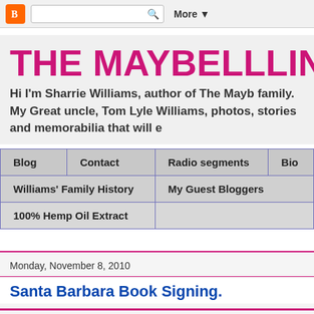[Figure (screenshot): Blogger navigation bar with orange B icon, search box, and More dropdown]
THE MAYBELLLINE
Hi I'm Sharrie Williams, author of The Mayb family. My Great uncle, Tom Lyle Williams, photos, stories and memorabilia that will e
| Blog | Contact | Radio segments | Bio |
| --- | --- | --- | --- |
| Williams' Family History |  | My Guest Bloggers |  |
| 100% Hemp Oil Extract |  |  |  |
Monday, November 8, 2010
Santa Barbara Book Signing.